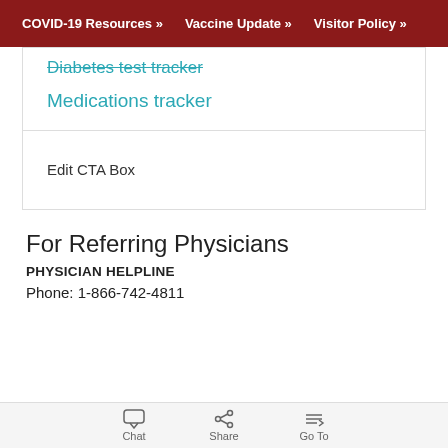COVID-19 Resources » Vaccine Update » Visitor Policy »
Diabetes test tracker
Medications tracker
Edit CTA Box
For Referring Physicians
PHYSICIAN HELPLINE
Phone: 1-866-742-4811
Chat  Share  Go To